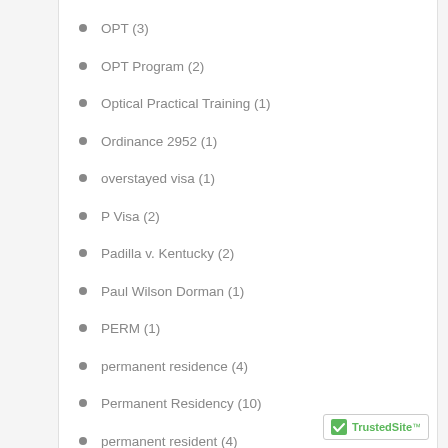OPT (3)
OPT Program (2)
Optical Practical Training (1)
Ordinance 2952 (1)
overstayed visa (1)
P Visa (2)
Padilla v. Kentucky (2)
Paul Wilson Dorman (1)
PERM (1)
permanent residence (4)
Permanent Residency (10)
permanent resident (4)